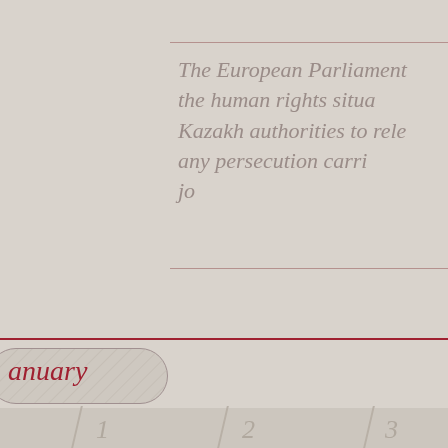The European Parliament ... the human rights situa... Kazakh authorities to rele... any persecution carri... jo...
January
1   2   3